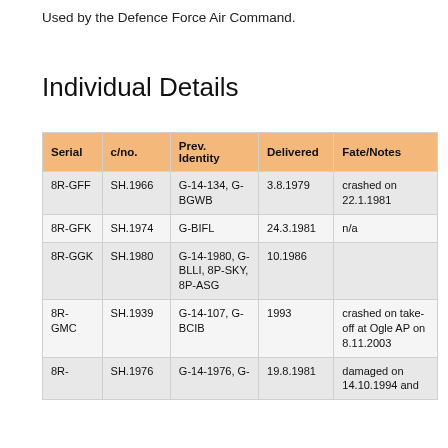Used by the Defence Force Air Command.
Individual Details
| Serial | c/no. | Prev. Identity | Delivered | Fate/Notes |
| --- | --- | --- | --- | --- |
| 8R-GFF | SH.1966 | G-14-134, G-BGWB | 3.8.1979 | crashed on 22.1.1981 |
| 8R-GFK | SH.1974 | G-BIFL | 24.3.1981 | n/a |
| 8R-GGK | SH.1980 | G-14-1980, G-BLLI, 8P-SKY, 8P-ASG | 10.1986 |  |
| 8R-GMC | SH.1939 | G-14-107, G-BCIB | 1993 | crashed on take-off at Ogle AP on 8.11.2003 |
| 8R- | SH.1976 | G-14-1976, G- | 19.8.1981 | damaged on 14.10.1994 and |